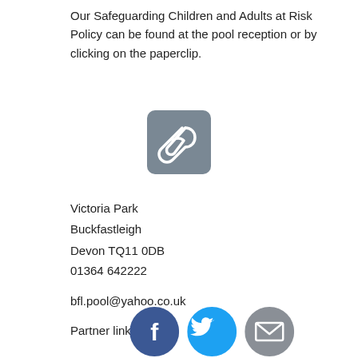Our Safeguarding Children and Adults at Risk Policy can be found at the pool reception or by clicking on the paperclip.
[Figure (illustration): A grey rounded-square button icon with a white paperclip symbol]
Victoria Park
Buckfastleigh
Devon TQ11 0DB
01364 642222
bfl.pool@yahoo.co.uk
Partner links
[Figure (illustration): Three social media icons: Facebook (dark blue circle with white f), Twitter (cyan circle with white bird), Email (grey circle with white envelope)]